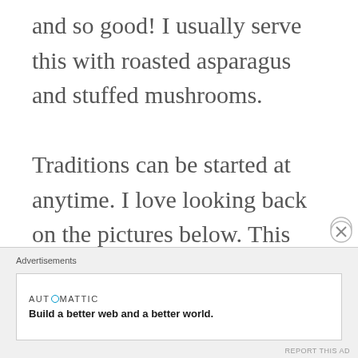and so good! I usually serve this with roasted asparagus and stuffed mushrooms.

Traditions can be started at anytime. I love looking back on the pictures below. This was the first time I started the tradition of butternut squash soup. I
[Figure (other): Advertisement banner with close button. Shows Automattic logo and tagline 'Build a better web and a better world.']
Advertisements
REPORT THIS AD